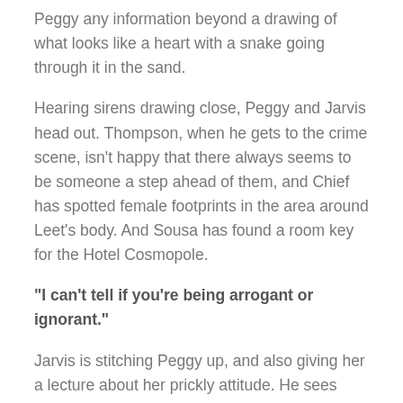Peggy any information beyond a drawing of what looks like a heart with a snake going through it in the sand.
Hearing sirens drawing close, Peggy and Jarvis head out. Thompson, when he gets to the crime scene, isn’t happy that there always seems to be someone a step ahead of them, and Chief has spotted female footprints in the area around Leet’s body. And Sousa has found a room key for the Hotel Cosmopole.
“I can’t tell if you’re being arrogant or ignorant.”
Jarvis is stitching Peggy up, and also giving her a lecture about her prickly attitude. He sees right